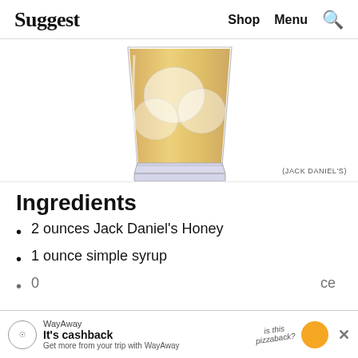Suggest  Shop  Menu
[Figure (photo): A rocks glass filled with amber-colored whiskey and large ice cubes, photographed from above at a slight angle. The glass has a heavy base.]
(JACK DANIEL'S)
Ingredients
2 ounces Jack Daniel's Honey
1 ounce simple syrup
0 [partially visible] ce